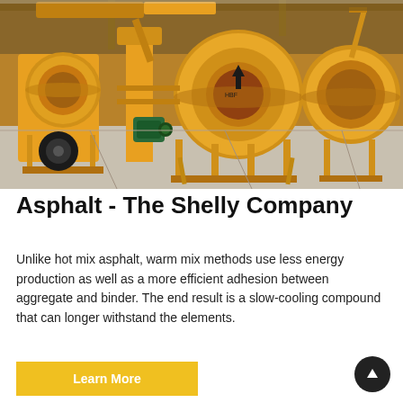[Figure (photo): Yellow concrete mixer / asphalt mixing machines parked in an industrial warehouse. Multiple large orange-yellow barrel-shaped drum mixers on wheeled frames, with a green electric motor visible on one unit. Industrial facility background.]
Asphalt - The Shelly Company
Unlike hot mix asphalt, warm mix methods use less energy production as well as a more efficient adhesion between aggregate and binder. The end result is a slow-cooling compound that can longer withstand the elements.
Learn More